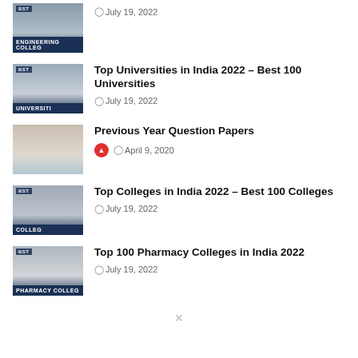⊙July 19, 2022
Top Universities in India 2022 – Best 100 Universities
⊙July 19, 2022
Previous Year Question Papers
⊙April 9, 2020
Top Colleges in India 2022 – Best 100 Colleges
⊙July 19, 2022
Top 100 Pharmacy Colleges in India 2022
⊙July 19, 2022